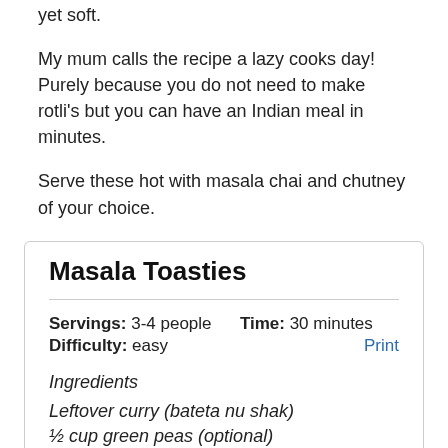yet soft.
My mum calls the recipe a lazy cooks day! Purely because you do not need to make rotli's but you can have an Indian meal in minutes.
Serve these hot with masala chai and chutney of your choice.
Masala Toasties
Servings: 3-4 people   Time: 30 minutes
Difficulty: easy
Ingredients
Leftover curry (bateta nu shak)
½ cup green peas (optional)